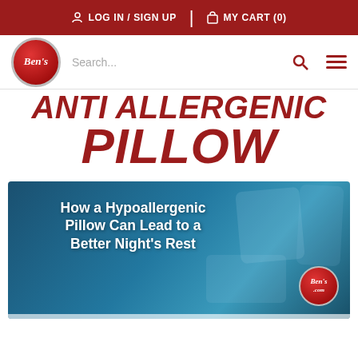LOG IN / SIGN UP | MY CART (0)
[Figure (logo): Ben's logo - red circular logo with white italic text]
ANTI ALLERGENIC PILLOW
[Figure (illustration): Article card with blue background showing text: How a Hypoallergenic Pillow Can Lead to a Better Night's Rest, with Ben's.com logo in bottom right corner]